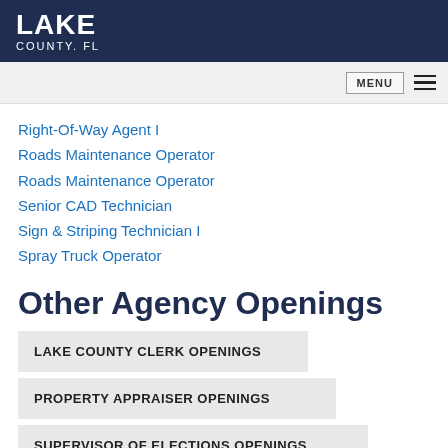LAKE COUNTY. FL
Right-Of-Way Agent I
Roads Maintenance Operator
Roads Maintenance Operator
Senior CAD Technician
Sign & Striping Technician I
Spray Truck Operator
Other Agency Openings
LAKE COUNTY CLERK OPENINGS
PROPERTY APPRAISER OPENINGS
SUPERVISOR OF ELECTIONS OPENINGS